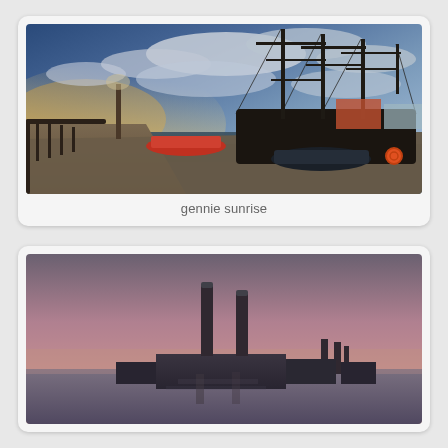[Figure (photo): HDR photograph of a tall ship moored at a harbor/dock at sunrise. Dramatic cloudy sky with golden and blue tones. A quayside walkway with railings is visible on the left, along with smaller boats and red vessels in the water. Buildings and cranes visible in the background.]
gennie sunrise
[Figure (photo): Photograph of an industrial waterfront at dusk/sunset with two tall chimneys/smokestacks silhouetted against a pink and grey sky. A body of water is in the foreground. Additional smaller smokestacks visible to the right.]